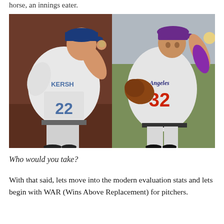horse, an innings eater.
[Figure (photo): Two side-by-side photos of baseball pitchers. Left: a pitcher wearing jersey number 22 with name KERSH, in a blue Dodgers cap, winding up to throw. Right: a pitcher wearing number 32 with 'Angeles' on jersey, in a purple cap, also mid-pitch.]
Who would you take?
With that said, lets move into the modern evaluation stats and lets begin with WAR (Wins Above Replacement) for pitchers.